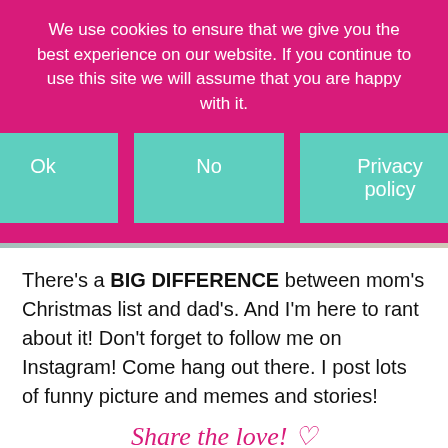We use cookies to ensure that we give you the best experience on our website. If you continue to use this site we will assume that you are happy with it.
[Figure (screenshot): Cookie consent buttons: Ok, No, Privacy policy — teal/mint colored buttons on pink background]
[Figure (photo): Thumbnail image of a woman in red top pointing finger up, with Christmas tree in background and text overlay listing: HUSBAND, GRANDMA, GRANDPA, SIBLINGS, IN-LAWS, TEACHERS, EVERY FREAKIN PERSON! and X-MAS SHOPPING LIST in red banner at bottom]
There's a BIG DIFFERENCE between mom's Christmas list and dad's. And I'm here to rant about it! Don't forget to follow me on Instagram! Come hang out there. I post lots of funny picture and memes and stories!
Share the love! ♡